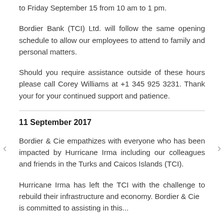to Friday September 15 from 10 am to 1 pm.
Bordier Bank (TCI) Ltd. will follow the same opening schedule to allow our employees to attend to family and personal matters.
Should you require assistance outside of these hours please call Corey Williams at +1 345 925 3231.  Thank your for your continued support and patience.
11 September 2017
Bordier & Cie empathizes with everyone who has been impacted by Hurricane Irma including our colleagues and friends in the Turks and Caicos Islands (TCI).
Hurricane Irma has left the TCI with the challenge to rebuild their infrastructure and economy. Bordier & Cie is committed to assisting in this...